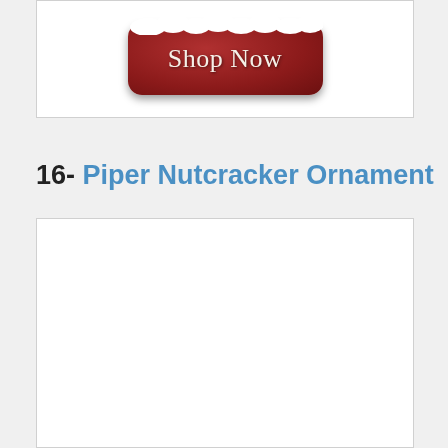[Figure (other): Dark red rounded button with snow on top, labeled 'Shop Now' in white serif text]
16- Piper Nutcracker Ornament
[Figure (other): Empty white box placeholder for product image]